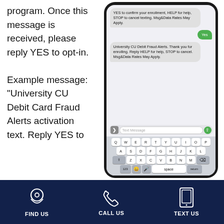program. Once this message is received, please reply YES to opt-in.
Example message: "University CU Debit Card Fraud Alerts activation text. Reply YES to
[Figure (screenshot): Smartphone screenshot showing a text message conversation with University CU Debit Fraud Alerts. Messages show: incoming bubble 'YES to confirm your enrollment, HELP for help, STOP to cancel texting. Msg&Data Rates May Apply.' then a green outgoing bubble 'Yes', then incoming 'University CU Debit Fraud Alerts. Thank you for enrolling. Reply HELP for help, STOP to cancel. Msg&Data Rates May Apply.' Below is a text input bar with 'Text Message' placeholder and a phone keyboard showing QWERTY layout.]
FIND US    CALL US    TEXT US